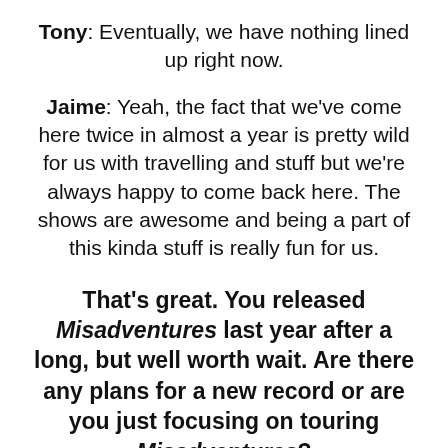Tony: Eventually, we have nothing lined up right now.
Jaime: Yeah, the fact that we've come here twice in almost a year is pretty wild for us with travelling and stuff but we're always happy to come back here. The shows are awesome and being a part of this kinda stuff is really fun for us.
That's great. You released Misadventures last year after a long, but well worth wait. Are there any plans for a new record or are you just focusing on touring Misadventures?
Jaime: Yeah, there always are plans. I think we